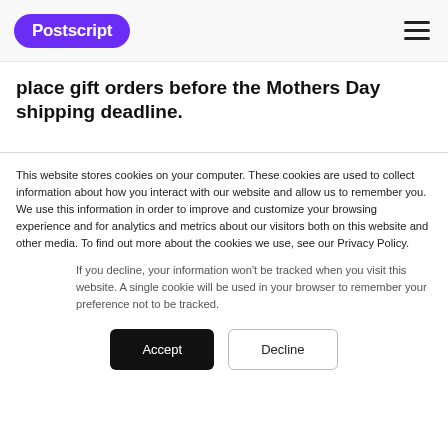Postscript
place gift orders before the Mothers Day shipping deadline.
This website stores cookies on your computer. These cookies are used to collect information about how you interact with our website and allow us to remember you. We use this information in order to improve and customize your browsing experience and for analytics and metrics about our visitors both on this website and other media. To find out more about the cookies we use, see our Privacy Policy.
If you decline, your information won't be tracked when you visit this website. A single cookie will be used in your browser to remember your preference not to be tracked.
Accept
Decline